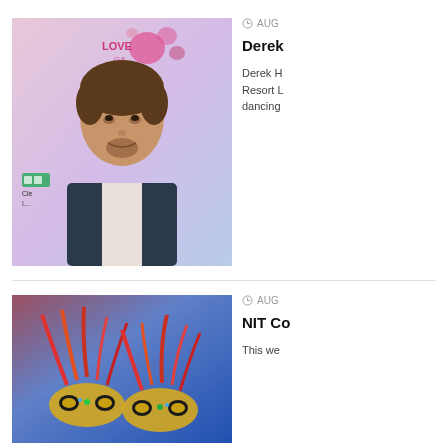[Figure (photo): Man in dark blazer and white shirt at a Love Games event with Cleveland Clinic logo visible]
AUG
Derek
Derek H Resort L dancing
[Figure (photo): Ornate carnival masks with feathers against a blue background]
AUG
NIT Co
This we